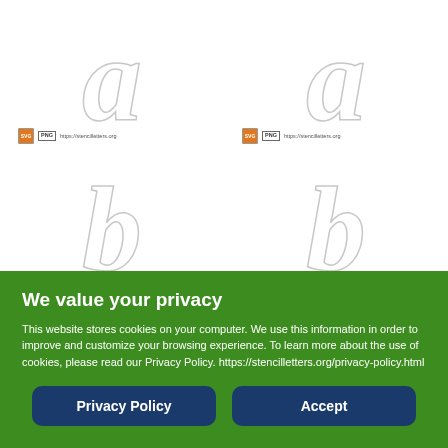[Figure (illustration): Four stencil letter outlines arranged in a 2x2 grid. Top row shows two 'a' letters in italic outline style. Bottom row shows two 'b' letters in italic outline style. Each cell has a small badge row with PNG icon and URL https://stencilletters.org.]
We value your privacy
This website stores cookies on your computer. We use this information in order to improve and customize your browsing experience. To learn more about the use of cookies, please read our Privacy Policy. https://stencilletters.org/privacy-policy.html
Privacy Policy
Accept